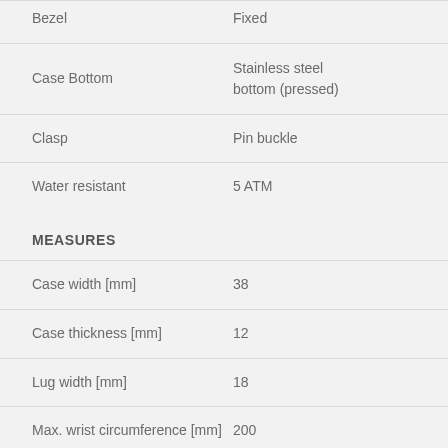| Property | Value |
| --- | --- |
| Bezel | Fixed |
| Case Bottom | Stainless steel bottom (pressed) |
| Clasp | Pin buckle |
| Water resistant | 5 ATM |
| MEASURES |  |
| Case width [mm] | 38 |
| Case thickness [mm] | 12 |
| Lug width [mm] | 18 |
| Max. wrist circumference [mm] | 200 |